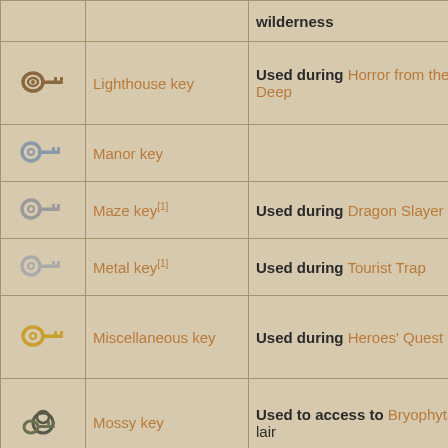| Icon | Name | Description |
| --- | --- | --- |
| [wilderness key icon] | wilderness |  |
| [lighthouse key icon] | Lighthouse key | Used during Horror from the Deep |
| [manor key icon] | Manor key |  |
| [maze key icon] | Maze key[1] | Used during Dragon Slayer I |
| [metal key icon] | Metal key[1] | Used during Tourist Trap |
| [misc key icon] | Miscellaneous key | Used during Heroes' Quest |
| [mossy key icon] | Mossy key | Used to access to Bryophyta's lair |
| [muddy key icon] | Muddy key | Obtained as a drop from chaos dwarves. Opens the muddy chest |
| [new key icon] | New key[1] | Used during Mourning's End Part II |